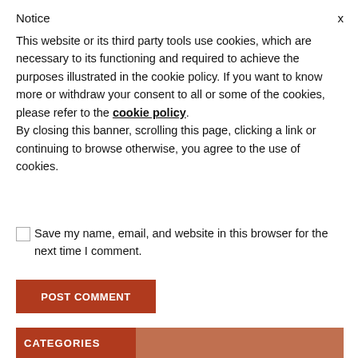Notice
This website or its third party tools use cookies, which are necessary to its functioning and required to achieve the purposes illustrated in the cookie policy. If you want to know more or withdraw your consent to all or some of the cookies, please refer to the cookie policy. By closing this banner, scrolling this page, clicking a link or continuing to browse otherwise, you agree to the use of cookies.
Save my name, email, and website in this browser for the next time I comment.
POST COMMENT
CATEGORIES
40 Hadeeth on Women
40 Hadith in the Manhaj